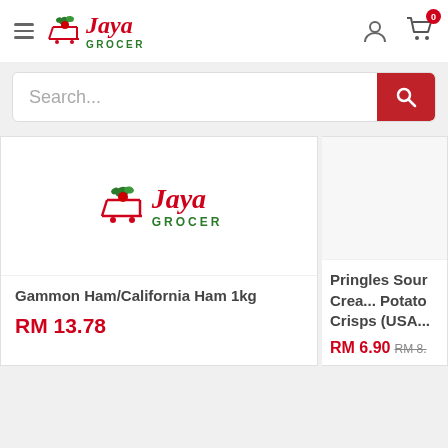Jaya Grocer — navigation header with hamburger menu, logo, user icon, cart (0)
Search...
[Figure (other): Jaya Grocer logo placeholder image inside product card]
Gammon Ham/California Ham 1kg
RM 13.78
Pringles Sour Crea... Potato Crisps (USA...
RM 6.90  RM 8...